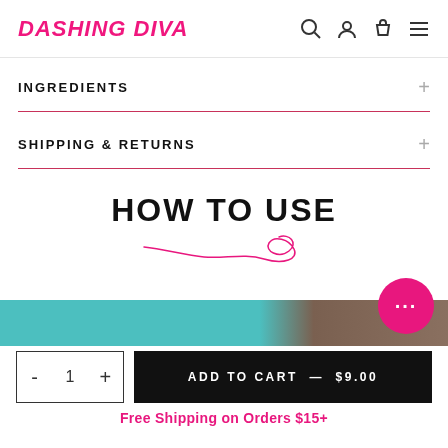DASHING DIVA
INGREDIENTS
SHIPPING & RETURNS
HOW TO USE
[Figure (photo): Teal/turquoise and brown tones product image strip]
ADD TO CART — $9.00
Free Shipping on Orders $15+